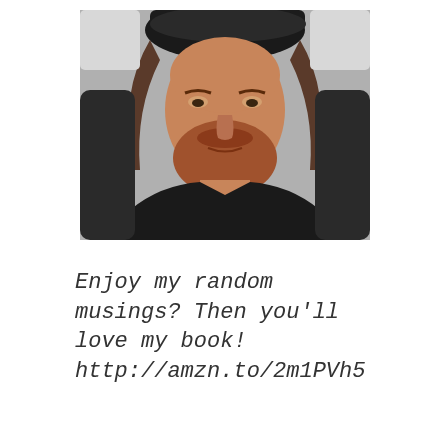[Figure (photo): A man with reddish-brown beard and dark baseball cap, wearing a dark hoodie, seated in a car, looking at the camera with a neutral expression.]
Enjoy my random musings? Then you'll love my book! http://amzn.to/2m1PVh5